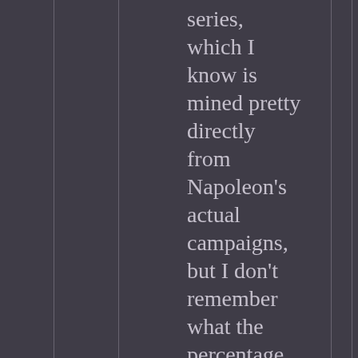series, which I know is mined pretty directly from Napoleon's actual campaigns, but I don't remember what the percentage was. I do remember